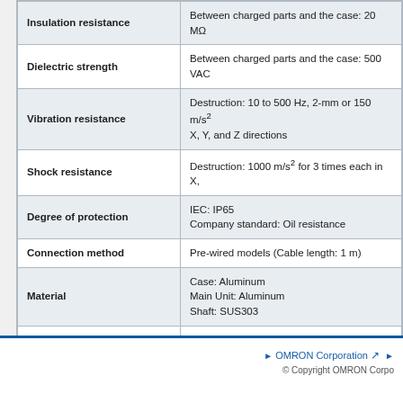| Property | Value |
| --- | --- |
| Insulation resistance | Between charged parts and the case: 20 MΩ |
| Dielectric strength | Between charged parts and the case: 500 VAC |
| Vibration resistance | Destruction: 10 to 500 Hz, 2-mm or 150 m/s² X, Y, and Z directions |
| Shock resistance | Destruction: 1000 m/s² for 3 times each in X, |
| Degree of protection | IEC: IP65
Company standard: Oil resistance |
| Connection method | Pre-wired models (Cable length: 1 m) |
| Material | Case: Aluminum
Main Unit: Aluminum
Shaft: SUS303 |
| Weight | Package: Approx. 300 g |
| Accessories | Instruction manual |
▶ OMRON Corporation ↗ ▶ © Copyright OMRON Corpo